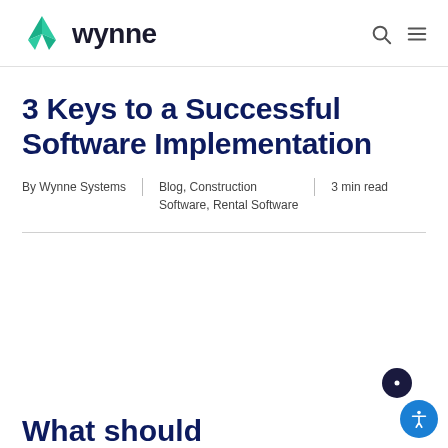wynne
3 Keys to a Successful Software Implementation
By Wynne Systems | Blog, Construction Software, Rental Software | 3 min read
What should